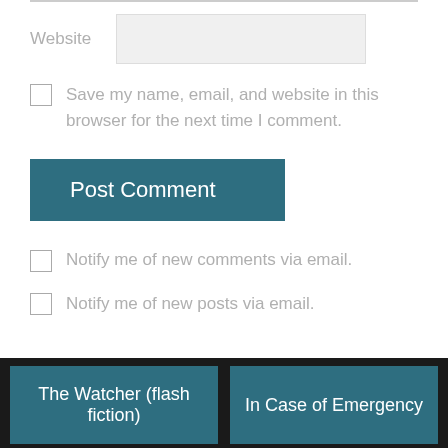Website
Save my name, email, and website in this browser for the next time I comment.
Post Comment
Notify me of new comments via email.
Notify me of new posts via email.
The Watcher (flash fiction)
In Case of Emergency